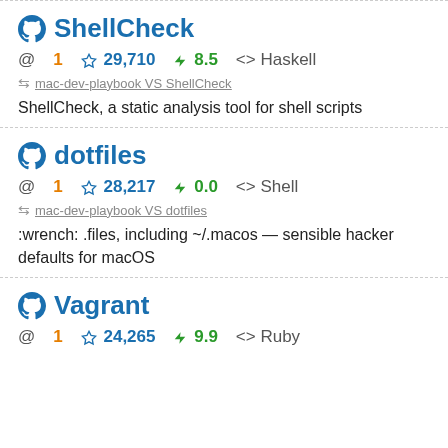ShellCheck
@ 1  ☆ 29,710  ⚡ 8.5  <> Haskell
mac-dev-playbook VS ShellCheck
ShellCheck, a static analysis tool for shell scripts
dotfiles
@ 1  ☆ 28,217  ⚡ 0.0  <> Shell
mac-dev-playbook VS dotfiles
:wrench: .files, including ~/.macos — sensible hacker defaults for macOS
Vagrant
@ 1  ☆ 24,265  ⚡ 9.9  <> Ruby